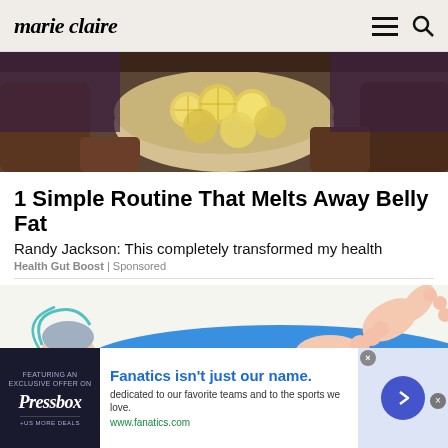marie claire
[Figure (photo): Hands holding a bowl filled with sliced lemons]
1 Simple Routine That Melts Away Belly Fat
Randy Jackson: This completely transformed my health
Health Gut Boost | Sponsored
[Figure (illustration): Illustrated person lying down with arms raised, wearing a blue shirt]
[Figure (infographic): Fanatics banner ad: Fanatics isn't just our name. dedicated to our favorite teams and to the sports we love. www.fanatics.com. Pressbox logo on left, arrow button on right.]